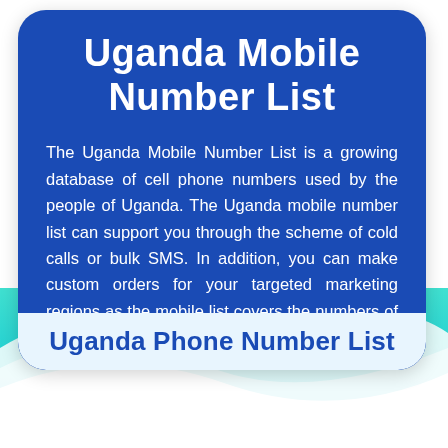Uganda Mobile Number List
The Uganda Mobile Number List is a growing database of cell phone numbers used by the people of Uganda. The Uganda mobile number list can support you through the scheme of cold calls or bulk SMS. In addition, you can make custom orders for your targeted marketing regions as the mobile list covers the numbers of the people of Uganda.
Uganda Phone Number List